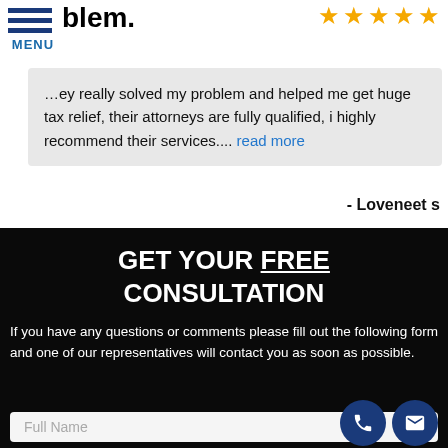MENU
blem.
…ey really solved my problem and helped me get huge tax relief, their attorneys are fully qualified, i highly recommend their services.... read more
- Loveneet s
GET YOUR FREE CONSULTATION
If you have any questions or comments please fill out the following form and one of our representatives will contact you as soon as possible.
Full Name